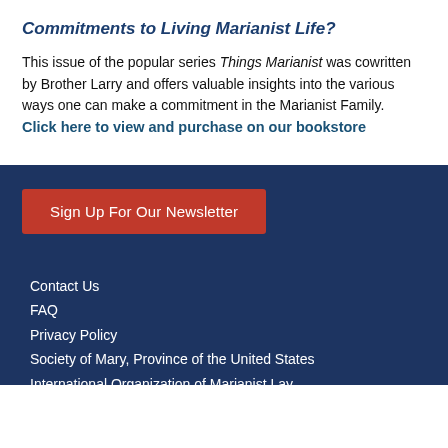Commitments to Living Marianist Life?
This issue of the popular series Things Marianist was cowritten by Brother Larry and offers valuable insights into the various ways one can make a commitment in the Marianist Family. Click here to view and purchase on our bookstore
Sign Up For Our Newsletter
Contact Us
FAQ
Privacy Policy
Society of Mary, Province of the United States
International Organization of Marianist Lay